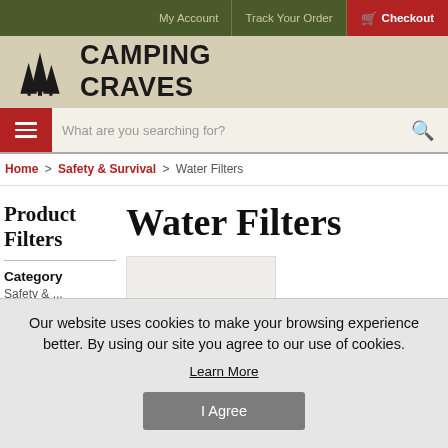My Account | Track Your Order | Checkout
[Figure (logo): Camping Craves logo with pine trees icon and bold text CAMPING CRAVES]
What are you searching for?
Home > Safety & Survival > Water Filters
Product Filters
Water Filters
Category
Safety & ...
Our website uses cookies to make your browsing experience better. By using our site you agree to our use of cookies.
Learn More
I Agree